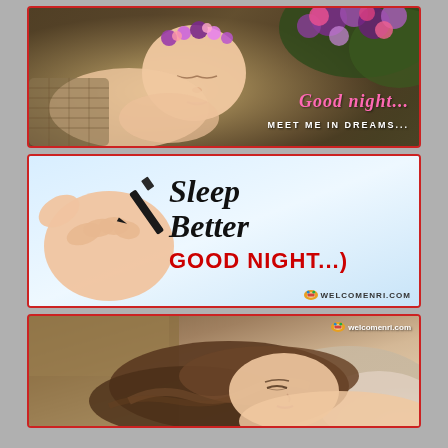[Figure (photo): Sleeping newborn baby with a floral crown (purple and pink flowers) resting in a woven basket. Text overlay reads 'Good night... MEET ME IN DREAMS...' in pink/white script on the right side.]
[Figure (photo): Hand holding a black pen/marker on a light blue background. Text overlay reads 'Sleep Better' in black italic and 'GOOD NIGHT...)' in bold red. Website watermark 'WELCOMENRI.COM' at bottom right.]
[Figure (photo): Woman with brown hair sleeping peacefully, resting on a soft surface. Website watermark 'welcomenri.com' at top right.]